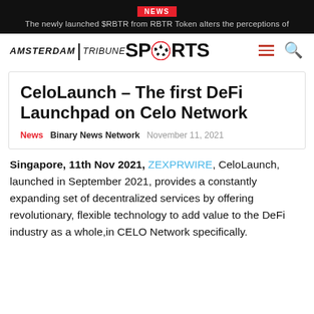NEWS | The newly launched $RBTR from RBTR Token alters the perceptions of
[Figure (logo): Amsterdam Tribune Sports logo with soccer ball icon, hamburger menu and search icons]
CeloLaunch – The first DeFi Launchpad on Celo Network
News  Binary News Network  November 11, 2021
Singapore, 11th Nov 2021, ZEXPRWIRE, CeloLaunch, launched in September 2021, provides a constantly expanding set of decentralized services by offering revolutionary, flexible technology to add value to the DeFi industry as a whole,in CELO Network specifically.